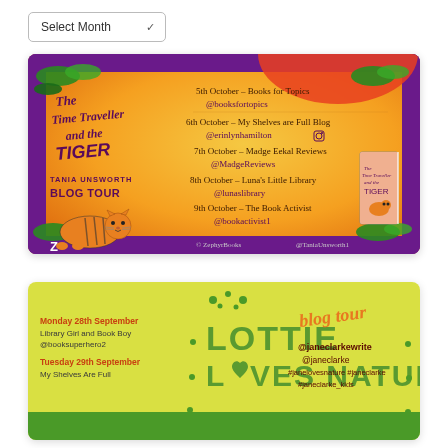Select Month
[Figure (infographic): Blog tour banner for 'The Time Traveller and the Tiger' by Tania Unsworth. Colourful jungle-themed banner with purple border, orange/yellow background, tiger illustration, book cover, and listing of blog tour stops: 5th October - Books for Topics @booksfortopics; 6th October - My Shelves are Full Blog @erinlynhamilton; 7th October - Madge Eekal Reviews @MadgeReviews; 8th October - Luna's Little Library @lunaslibrary; 9th October - The Book Activist @bookactivist1. Credits: @ZephyrBooks @TaniaUnsworth1]
[Figure (infographic): Blog tour banner for 'Lottie Loves Nature' by Jane Clarke. Yellow background with green accents. Lists: Monday 28th September - Library Girl and Book Boy @booksuperhero2; Tuesday 29th September - My Shelves Are Full. Mentions @janeclarkewrite @janeclarke #janelovesnature #janeclarke_kids. Shows 'blog tour' text in cursive orange.]